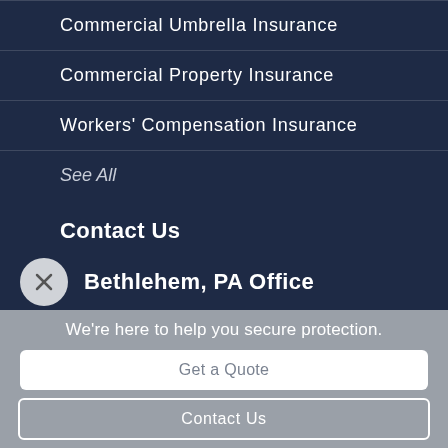Commercial Umbrella Insurance
Commercial Property Insurance
Workers' Compensation Insurance
See All
Contact Us
Bethlehem, PA Office
We're here to help you secure protection.
Get a Quote
Contact Us